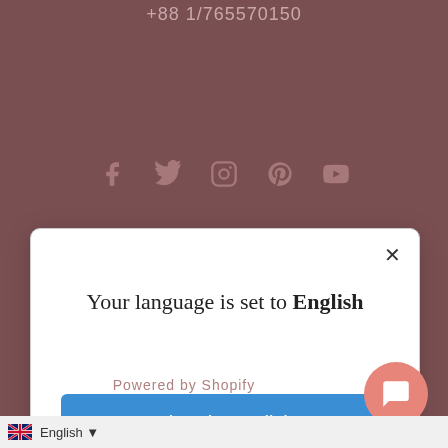+88 1/765570150
[Figure (screenshot): Social media icons: Facebook, Twitter, Instagram, Pinterest, YouTube in muted pink/gray on dark rose background]
[Figure (screenshot): Modal dialog popup with close button (X), language selection message, blue 'Shop in English' button, and 'Change language' link]
Your language is set to English
Shop in English
Change language
Powered by Shopify
English ▼